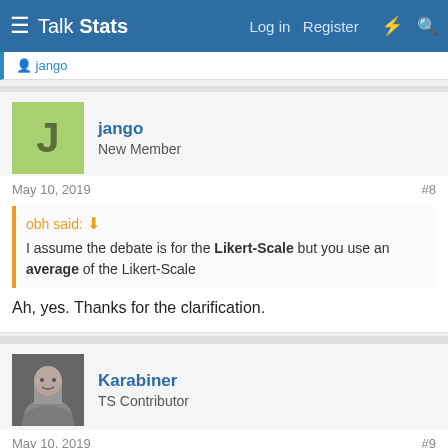Talk Stats — Log in   Register
jango
jango
New Member
May 10, 2019	#8
obh said: ↑
I assume the debate is for the Likert-Scale but you use an average of the Likert-Scale
Ah, yes. Thanks for the clarification.
Karabiner
TS Contributor
May 10, 2019	#9
jango said: ↑